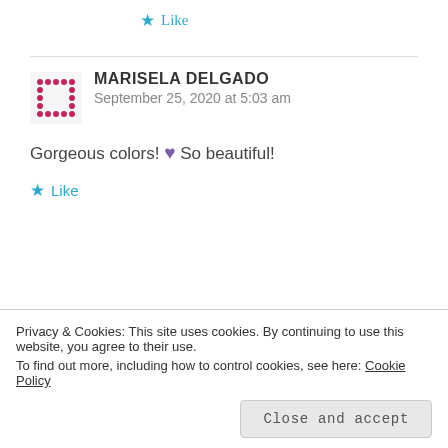★ Like
MARISELA DELGADO
September 25, 2020 at 5:03 am
Gorgeous colors! 💜 So beautiful!
★ Like
SUZANN ANDERSON
Privacy & Cookies: This site uses cookies. By continuing to use this website, you agree to their use.
To find out more, including how to control cookies, see here: Cookie Policy
Close and accept